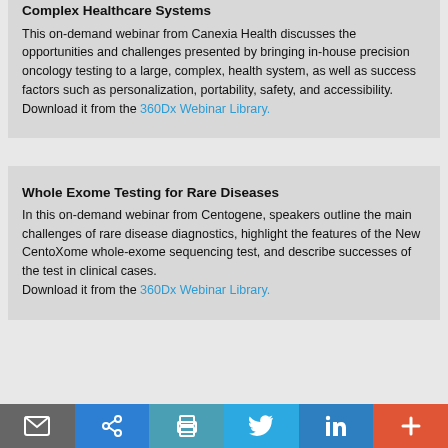Complex Healthcare Systems
This on-demand webinar from Canexia Health discusses the opportunities and challenges presented by bringing in-house precision oncology testing to a large, complex, health system, as well as success factors such as personalization, portability, safety, and accessibility. Download it from the 360Dx Webinar Library.
Whole Exome Testing for Rare Diseases
In this on-demand webinar from Centogene, speakers outline the main challenges of rare disease diagnostics, highlight the features of the New CentoXome whole-exome sequencing test, and describe successes of the test in clinical cases.
Download it from the 360Dx Webinar Library.